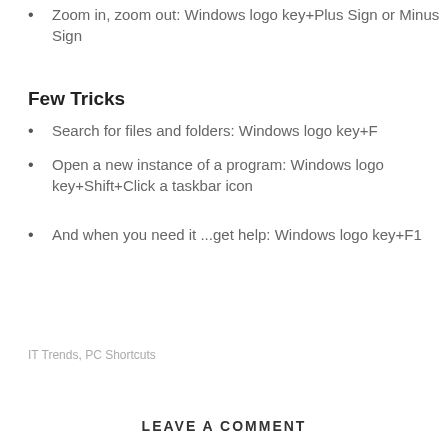Zoom in, zoom out: Windows logo key+Plus Sign or Minus Sign
Few Tricks
Search for files and folders: Windows logo key+F
Open a new instance of a program: Windows logo key+Shift+Click a taskbar icon
And when you need it ...get help: Windows logo key+F1
IT Trends, PC Shortcuts
LEAVE A COMMENT